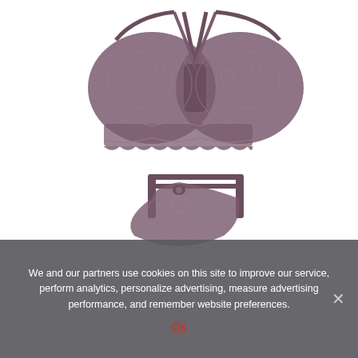[Figure (photo): Product photo of a mauve/dusty purple lace lingerie set consisting of a bra (top half of image) with floral lace cups and cross-strap detail, and matching lace panties/thong (bottom half) with double-strap waistband and floral lace front panel, displayed on a white background.]
We and our partners use cookies on this site to improve our service, perform analytics, personalize advertising, measure advertising performance, and remember website preferences.
Ok